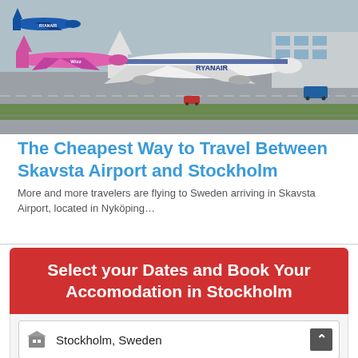[Figure (photo): Aerial view of Skavsta Airport tarmac with Ryanair white and blue aircraft and a pink Wizz Air aircraft parked at the terminal]
The Cheapest Way to Travel Between Skavsta Airport and Stockholm
More and more travelers are flying to Sweden arriving in Skavsta Airport, located in Nyköping…
Select your Dates and Book Your Accomodation in Stockholm
Stockholm, Sweden